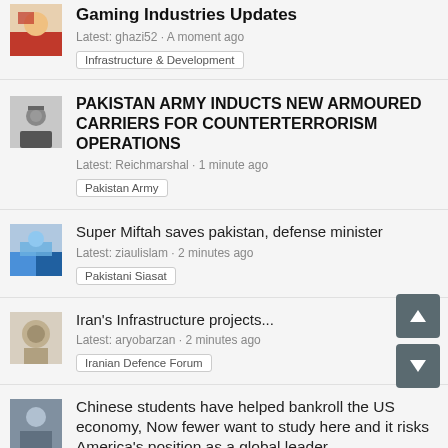Gaming Industries Updates
Latest: ghazi52 · A moment ago
Infrastructure & Development
PAKISTAN ARMY INDUCTS NEW ARMOURED CARRIERS FOR COUNTERTERRORISM OPERATIONS
Latest: Reichmarshal · 1 minute ago
Pakistan Army
Super Miftah saves pakistan, defense minister
Latest: ziaulislam · 2 minutes ago
Pakistani Siasat
Iran's Infrastructure projects...
Latest: aryobarzan · 2 minutes ago
Iranian Defence Forum
Chinese students have helped bankroll the US economy, Now fewer want to study here and it risks America's position as a global leader
Latest: AMG_12 · 3 minutes ago
Americas